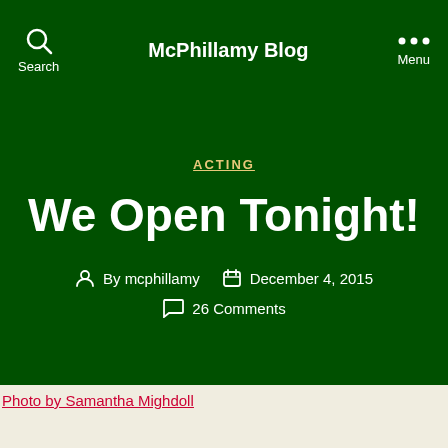McPhillamy Blog
ACTING
We Open Tonight!
By mcphillamy  December 4, 2015  26 Comments
Photo by Samantha Mighdoll